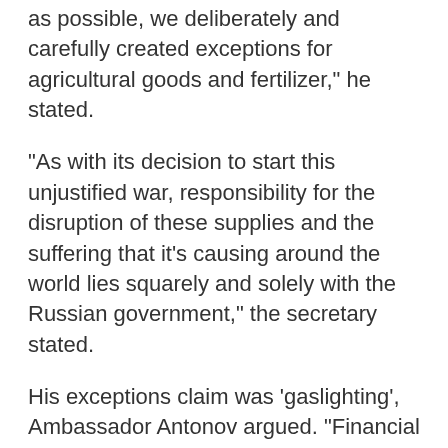as possible, we deliberately and carefully created exceptions for agricultural goods and fertilizer," he stated.
"As with its decision to start this unjustified war, responsibility for the disruption of these supplies and the suffering that it's causing around the world lies squarely and solely with the Russian government," the secretary stated.
His exceptions claim was 'gaslighting', Ambassador Antonov argued. "Financial and transport sanctions have a direct impact on global food markets," he said.